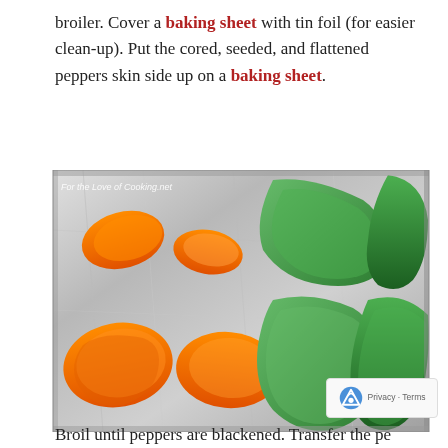broiler. Cover a baking sheet with tin foil (for easier clean-up). Put the cored, seeded, and flattened peppers skin side up on a baking sheet.
[Figure (photo): Photo of orange and green bell pepper pieces laid skin-side up on a foil-covered baking sheet, ready for broiling. Watermark reads 'For the Love of Cooking.net'.]
Broil until peppers are blackened. Transfer the pe...